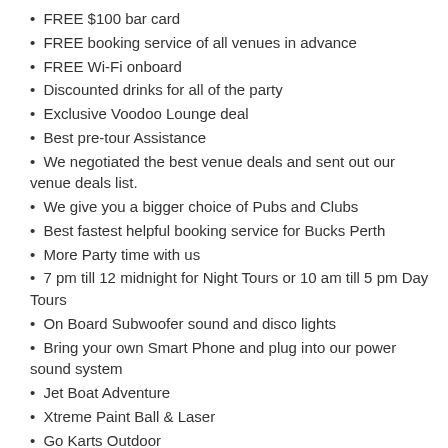FREE $100 bar card
FREE booking service of all venues in advance
FREE Wi-Fi onboard
Discounted drinks for all of the party
Exclusive Voodoo Lounge deal
Best pre-tour Assistance
We negotiated the best venue deals and sent out our venue deals list.
We give you a bigger choice of Pubs and Clubs
Best fastest helpful booking service for Bucks Perth
More Party time with us
7 pm till 12 midnight for Night Tours or 10 am till 5 pm Day Tours
On Board Subwoofer sound and disco lights
Bring your own Smart Phone and plug into our power sound system
Jet Boat Adventure
Xtreme Paint Ball & Laser
Go Karts Outdoor